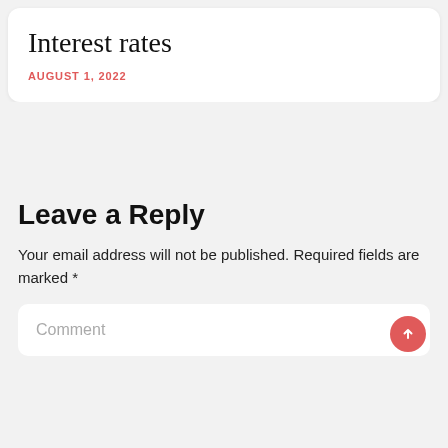Interest rates
AUGUST 1, 2022
Leave a Reply
Your email address will not be published. Required fields are marked *
Comment